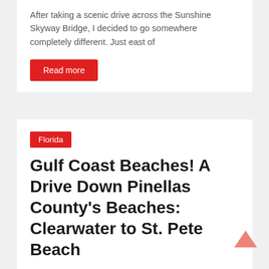After taking a scenic drive across the Sunshine Skyway Bridge, I decided to go somewhere completely different. Just east of
Read more
Florida
Gulf Coast Beaches! A Drive Down Pinellas County's Beaches: Clearwater to St. Pete Beach
July 29, 2020  Daniel  0 Comments  dashcam, Drivelapse, driving video, Florida, highway, road
Enjoy this sunny drive down the Pinellas County, Florida coastline. This drive takes you from Clearwater Beach, over Sand Key